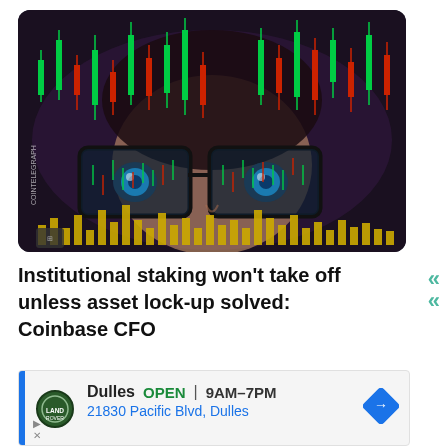[Figure (illustration): An artistic illustration of a person with blue eyes wearing glasses, with candlestick trading charts overlaid showing green and red candlesticks at the top and yellow volume bars at the bottom. Watermark reads COINTELEGRAPH.]
Institutional staking won't take off unless asset lock-up solved: Coinbase CFO
[Figure (infographic): Advertisement box for Land Rover Dulles dealership showing: OPEN 9AM-7PM, 21830 Pacific Blvd, Dulles, with navigation arrow icon, play and close icons.]